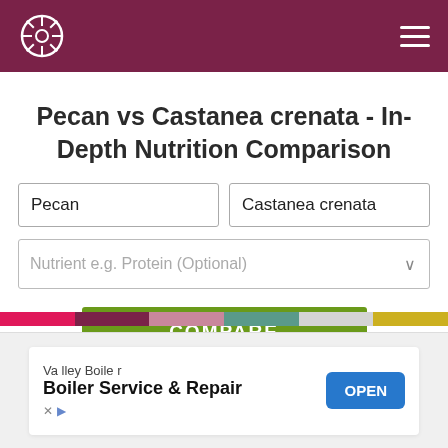Pecan vs Castanea crenata - In-Depth Nutrition Comparison
Pecan vs Castanea crenata - In-Depth Nutrition Comparison
Pecan
Castanea crenata
Nutrient e.g. Protein (Optional)
COMPARE
[Figure (other): Advertisement banner for Valley Boiler - Boiler Service & Repair with an OPEN button]